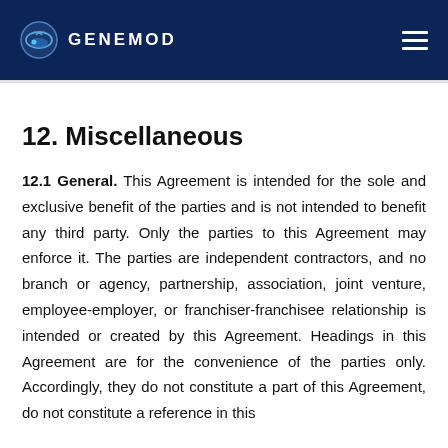GENEMOD
12. Miscellaneous
12.1 General. This Agreement is intended for the sole and exclusive benefit of the parties and is not intended to benefit any third party. Only the parties to this Agreement may enforce it. The parties are independent contractors, and no branch or agency, partnership, association, joint venture, employee-employer, or franchiser-franchisee relationship is intended or created by this Agreement. Headings in this Agreement are for the convenience of the parties only. Accordingly, they do not constitute a part of this Agreement, do not constitute a reference in this